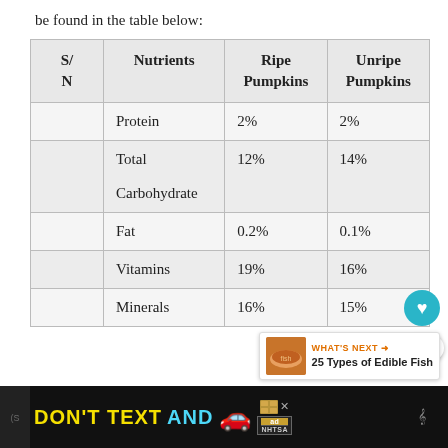be found in the table below:
| S/N | Nutrients | Ripe Pumpkins | Unripe Pumpkins |
| --- | --- | --- | --- |
|  | Protein | 2% | 2% |
|  | Total Carbohydrate | 12% | 14% |
|  | Fat | 0.2% | 0.1% |
|  | Vitamins | 19% | 16% |
|  | Minerals | 16% | 15% |
[Figure (screenshot): Advertisement banner: DON'T TEXT AND drive safety ad from NHTSA in black bar at bottom of page. Also includes overlay UI elements: heart button, share button, and 'What's Next - 25 Types of Edible Fish' card.]